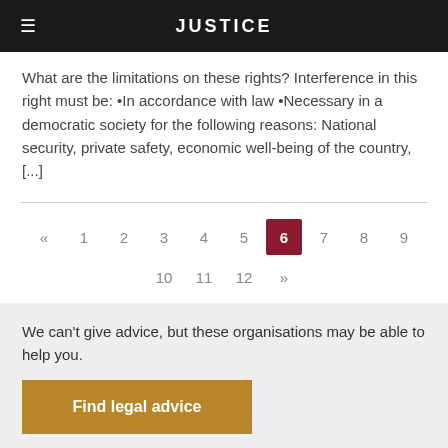JUSTICE
What are the limitations on these rights? Interference in this right must be: •In accordance with law •Necessary in a democratic society for the following reasons: National security, private safety, economic well-being of the country, [...]
« 1 2 3 4 5 6 7 8 9 10 11 12 »
We can't give advice, but these organisations may be able to help you.
Find legal advice